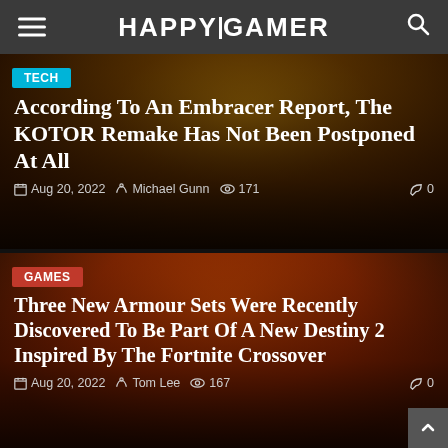HAPPYGAMER
[Figure (photo): Dark fantasy background with glowing ring inscription (Lord of the Rings style) with dark reddish-brown tones]
TECH
According To An Embracer Report, The KOTOR Remake Has Not Been Postponed At All
Aug 20, 2022  Michael Gunn  171  0
[Figure (photo): Dark fantasy background showing three armored warrior figures with red glowing eyes in warm orange/red tones]
GAMES
Three New Armour Sets Were Recently Discovered To Be Part Of A New Destiny 2 Inspired By The Fortnite Crossover
Aug 20, 2022  Tom Lee  167  0